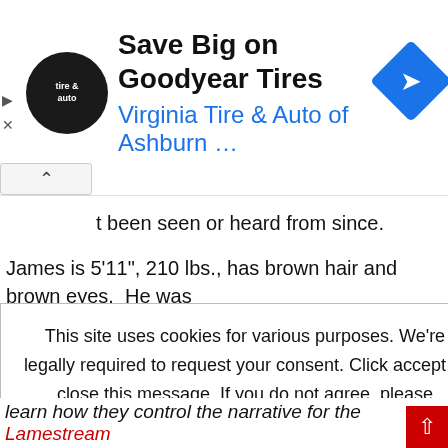[Figure (screenshot): Ad banner for Virginia Tire & Auto of Ashburn with Goodyear Tires promotion, showing logo, title, subtitle, and blue diamond arrow icon]
t been seen or heard from since.
James is 5'11", 210 lbs., has brown hair and brown eyes.  He was [partially obscured] d shorts and [partially obscured] nd possibly
This site uses cookies for various purposes. We're legally required to request your consent. Click accept to close this message. If you do not agree, please immediately exit the service or click more to learn why.
Y 'FEATURED'
tem for online
t NewsGuard
learn how they control the narrative for the Lamestream